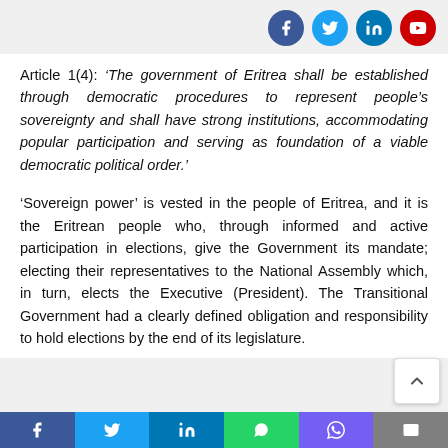Social media icons: Facebook, Twitter, LinkedIn, YouTube
Article 1(4): ‘The government of Eritrea shall be established through democratic procedures to represent people’s sovereignty and shall have strong institutions, accommodating popular participation and serving as foundation of a viable democratic political order.’
‘Sovereign power’ is vested in the people of Eritrea, and it is the Eritrean people who, through informed and active participation in elections, give the Government its mandate; electing their representatives to the National Assembly which, in turn, elects the Executive (President). The Transitional Government had a clearly defined obligation and responsibility to hold elections by the end of its legislature.
Social share footer: Facebook, Twitter, LinkedIn, WhatsApp, Viber, Email